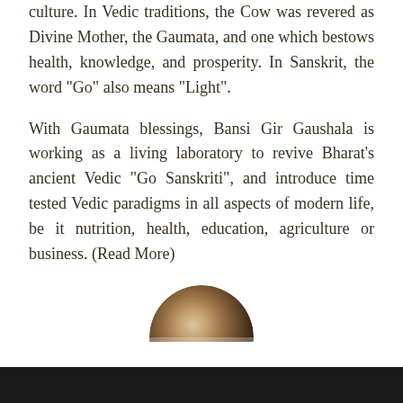culture. In Vedic traditions, the Cow was revered as Divine Mother, the Gaumata, and one which bestows health, knowledge, and prosperity. In Sanskrit, the word “Go” also means “Light”.
With Gaumata blessings, Bansi Gir Gaushala is working as a living laboratory to revive Bharat’s ancient Vedic “Go Sanskriti”, and introduce time tested Vedic paradigms in all aspects of modern life, be it nutrition, health, education, agriculture or business. (Read More)
[Figure (photo): Partial circular photo of a cow, showing the top of a cow's head, cropped to a semicircle shape]